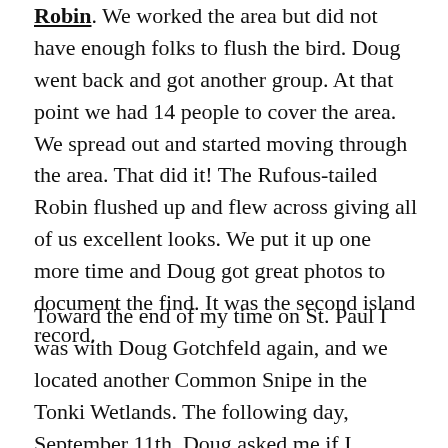Robin. We worked the area but did not have enough folks to flush the bird. Doug went back and got another group. At that point we had 14 people to cover the area. We spread out and started moving through the area. That did it! The Rufous-tailed Robin flushed up and flew across giving all of us excellent looks. We put it up one more time and Doug got great photos to document the find. It was the second island record.
Toward the end of my time on St. Paul I was with Doug Gotchfeld again, and we located another Common Snipe in the Tonki Wetlands. The following day, September 11th, Doug asked me if I wouldn't mind going back to the Tonki Wetlands as a birder in another group needed Common Snipe for a life bird. We gathered at the Tonki Wetlands and started to move through the marsh. A small snipe jumped up right between another birder and me. It